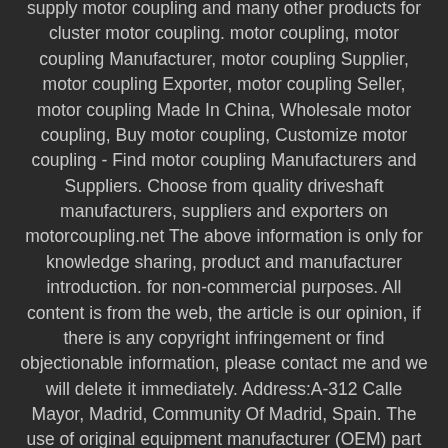supply motor coupling and many other products for cluster motor coupling. motor coupling, motor coupling Manufacturer, motor coupling Supplier, motor coupling Exporter, motor coupling Seller, motor coupling Made In China, Wholesale motor coupling, Buy motor coupling, Customize motor coupling - Find motor coupling Manufacturers and Suppliers. Choose from quality driveshaft manufacturers, suppliers and exporters on motorcoupling.net The above information is only for knowledge sharing, product and manufacturer introduction. for non-commercial purposes. All content is from the web, the article is our opinion, if there is any copyright infringement or find objectionable information, please contact me and we will delete it immediately. Address:A-312 Calle Mayor, Madrid, Community Of Madrid, Spain. The use of original equipment manufacturer (OEM) part numbers or trademarks is for informational